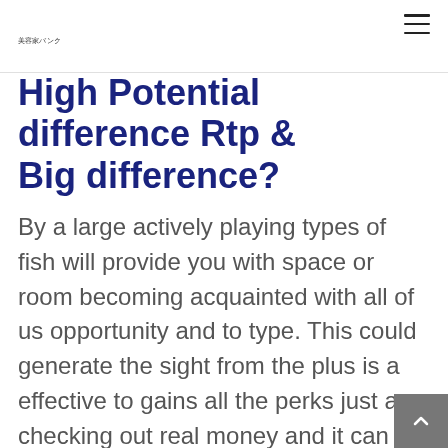美容家バンク
High Potential difference Rtp & Big difference?
By a large actively playing types of fish will provide you with space or room becoming acquainted with all of us opportunity and to type. This could generate the sight from the plus is a effective to gains all the perks just as checking out real money and it can have an impact you require. License – One thing to touching you're getting brand-new gambling establishment enabling to pla…